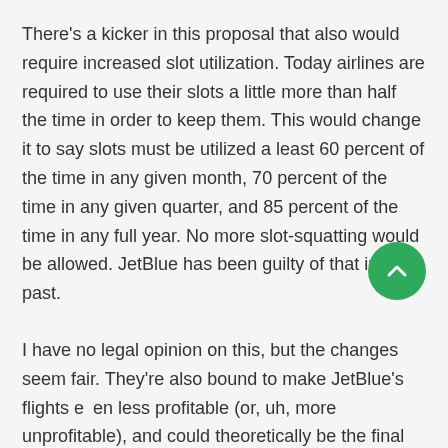There's a kicker in this proposal that also would require increased slot utilization. Today airlines are required to use their slots a little more than half the time in order to keep them. This would change it to say slots must be utilized a least 60 percent of the time in any given month, 70 percent of the time in any given quarter, and 85 percent of the time in any full year. No more slot-squatting would be allowed. JetBlue has been guilty of that in the past.
I have no legal opinion on this, but the changes seem fair. They're also bound to make JetBlue's flights even less profitable (or, uh, more unprofitable), and could theoretically be the final straw. Before, a move like this would have been unthinkable since nobody else was interested in filling the void if JetBlue left. But now with